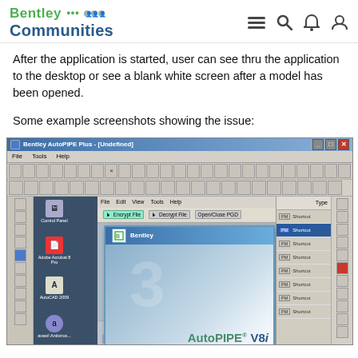Bentley Communities
After the application is started, user can see thru the application to the desktop or see a blank white screen after a model has been opened.
Some example screenshots showing the issue:
[Figure (screenshot): Screenshot of Bentley AutoPIPE Plus application showing the desktop visible through the application window, with a Bentley splash screen (AutoPIPE V8i SELECTseries 3, Release 9.1) overlaid on a desktop background showing Windows icons including Control Panel, Adobe Acrobat 8 Pro, AutoCAD 2008, and Avast Antivirus. The application toolbars and panels are visible around the transparent/see-through main area.]